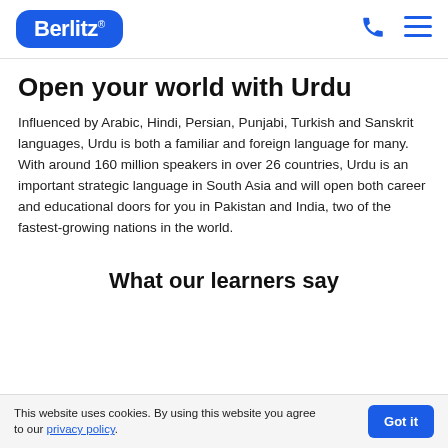Berlitz [logo] | phone icon | menu icon
Open your world with Urdu
Influenced by Arabic, Hindi, Persian, Punjabi, Turkish and Sanskrit languages, Urdu is both a familiar and foreign language for many. With around 160 million speakers in over 26 countries, Urdu is an important strategic language in South Asia and will open both career and educational doors for you in Pakistan and India, two of the fastest-growing nations in the world.
What our learners say
This website uses cookies. By using this website you agree to our privacy policy.